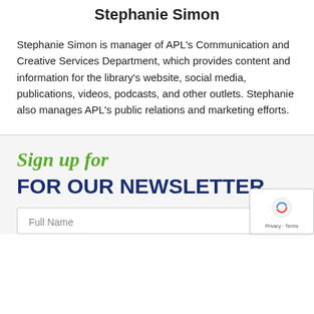Stephanie Simon
Stephanie Simon is manager of APL’s Communication and Creative Services Department, which provides content and information for the library’s website, social media, publications, videos, podcasts, and other outlets. Stephanie also manages APL’s public relations and marketing efforts.
Sign up for
FOR OUR NEWSLETTER
Full Name